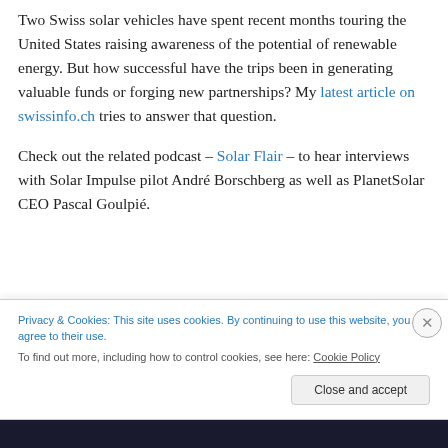Two Swiss solar vehicles have spent recent months touring the United States raising awareness of the potential of renewable energy. But how successful have the trips been in generating valuable funds or forging new partnerships? My latest article on swissinfo.ch tries to answer that question.
Check out the related podcast – Solar Flair – to hear interviews with Solar Impulse pilot André Borschberg as well as PlanetSolar CEO Pascal Goulpié.
Privacy & Cookies: This site uses cookies. By continuing to use this website, you agree to their use. To find out more, including how to control cookies, see here: Cookie Policy